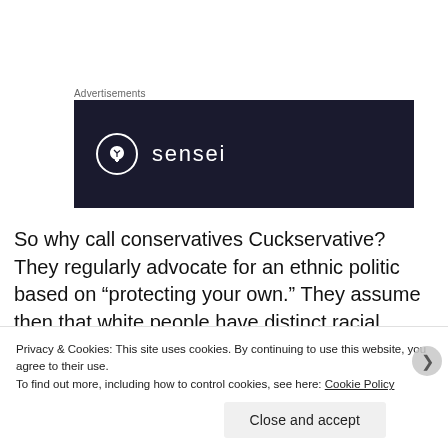Advertisements
[Figure (logo): Sensei advertisement banner: dark navy background with a circular tree logo icon and the word 'sensei' in white sans-serif text]
So why call conservatives Cuckservative?  They regularly advocate for an ethnic politic based on “protecting your own.” They assume then that white people have distinct racial interests, which are then harmed when non-white groups gain power or are allowed into the society through immigration. They are then accusing mainstream conservatives who have
Privacy & Cookies: This site uses cookies. By continuing to use this website, you agree to their use.
To find out more, including how to control cookies, see here: Cookie Policy
Close and accept